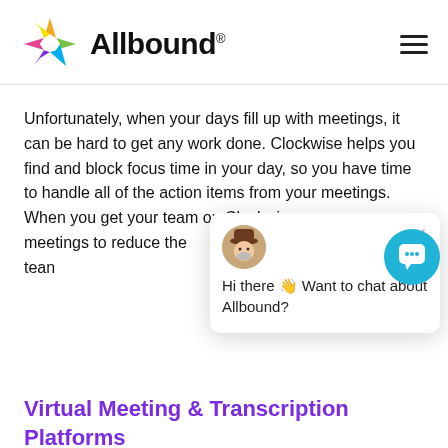[Figure (logo): Allbound logo with multicolor star and bold text 'Allbound®']
Unfortunately, when your days fill up with meetings, it can be hard to get any work done. Clockwise helps you find and block focus time in your day, so you have time to handle all of the action items from your meetings. When you get your team on Clockwise, meetings to reduce the for you and your team
[Figure (screenshot): Chat popup widget showing avatar and message 'Hi there 👋 Want to chat about Allbound?' with close button]
Virtual Meeting & Transcription Platforms